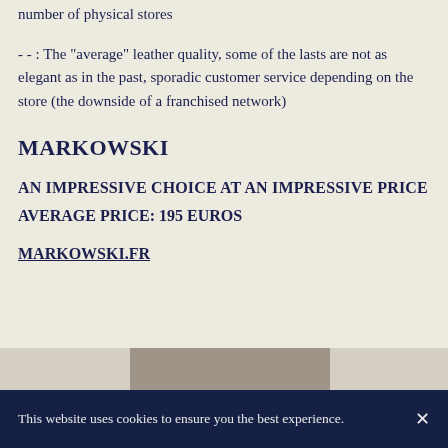number of physical stores
- - : The "average" leather quality, some of the lasts are not as elegant as in the past, sporadic customer service depending on the store (the downside of a franchised network)
MARKOWSKI
AN IMPRESSIVE CHOICE AT AN IMPRESSIVE PRICE
AVERAGE PRICE: 195 EUROS
MARKOWSKI.FR
[Figure (photo): Partial view of a shoe photo at the bottom of the page]
This website uses cookies to ensure you the best experience.